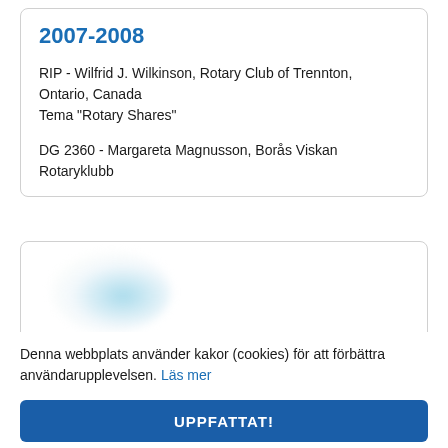2007-2008
RIP - Wilfrid J. Wilkinson, Rotary Club of Trennton, Ontario, Canada
Tema "Rotary Shares"
DG 2360 - Margareta Magnusson, Borås Viskan Rotaryklubb
[Figure (photo): Partially visible card with a blurred blue/teal circular graphic element, possibly a logo or image]
Denna webbplats använder kakor (cookies) för att förbättra användarupplevelsen. Läs mer
UPPFATTAT!